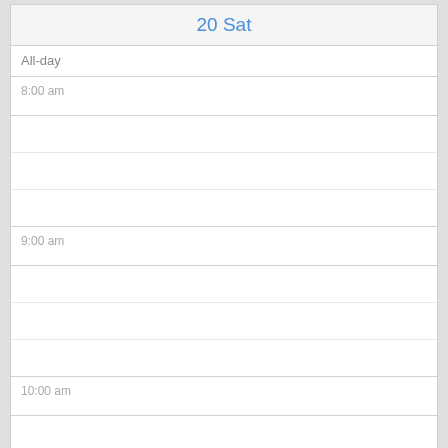20 Sat
All-day
8:00 am
9:00 am
10:00 am
11:00 am
12:00 pm
1:00 pm
2:00 pm